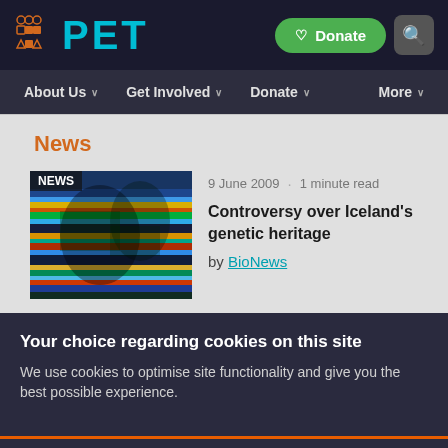PET — Donate | Search | About Us | Get Involved | Donate | More
News
[Figure (photo): Colorful DNA sequencing gel image with NEWS label overlay]
9 June 2009 · 1 minute read
Controversy over Iceland's genetic heritage
by BioNews
Your choice regarding cookies on this site
We use cookies to optimise site functionality and give you the best possible experience.